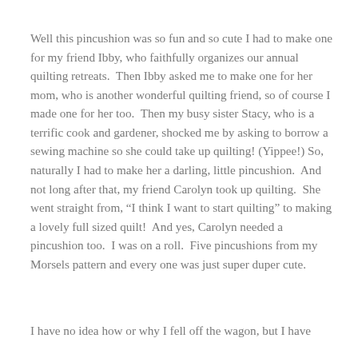Well this pincushion was so fun and so cute I had to make one for my friend Ibby, who faithfully organizes our annual quilting retreats.  Then Ibby asked me to make one for her mom, who is another wonderful quilting friend, so of course I made one for her too.  Then my busy sister Stacy, who is a terrific cook and gardener, shocked me by asking to borrow a sewing machine so she could take up quilting! (Yippee!) So, naturally I had to make her a darling, little pincushion.  And not long after that, my friend Carolyn took up quilting.  She went straight from, “I think I want to start quilting” to making a lovely full sized quilt!  And yes, Carolyn needed a pincushion too.  I was on a roll.  Five pincushions from my Morsels pattern and every one was just super duper cute.
I have no idea how or why I fell off the wagon, but I have